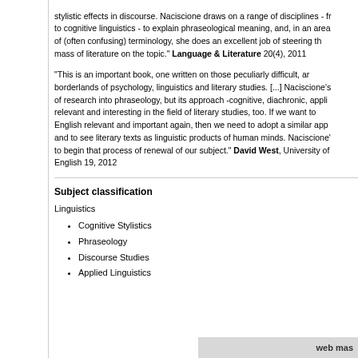stylistic effects in discourse. Naciscione draws on a range of disciplines - from to cognitive linguistics - to explain phraseological meaning, and, in an area of (often confusing) terminology, she does an excellent job of steering the mass of literature on the topic." Language & Literature 20(4), 2011
"This is an important book, one written on those peculiarly difficult, an borderlands of psychology, linguistics and literary studies. [...] Naciscione's b of research into phraseology, but its approach -cognitive, diachronic, appli relevant and interesting in the field of literary studies, too. If we want to English relevant and important again, then we need to adopt a similar app and to see literary texts as linguistic products of human minds. Naciscione' to begin that process of renewal of our subject." David West, University of English 19, 2012
Subject classification
Linguistics
Cognitive Stylistics
Phraseology
Discourse Studies
Applied Linguistics
web mas